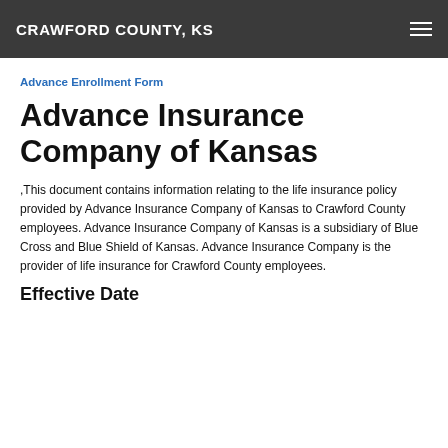CRAWFORD COUNTY, KS
Advance Enrollment Form
Advance Insurance Company of Kansas
,This document contains information relating to the life insurance policy provided by Advance Insurance Company of Kansas to Crawford County employees. Advance Insurance Company of Kansas is a subsidiary of Blue Cross and Blue Shield of Kansas. Advance Insurance Company is the provider of life insurance for Crawford County employees.
Effective Date